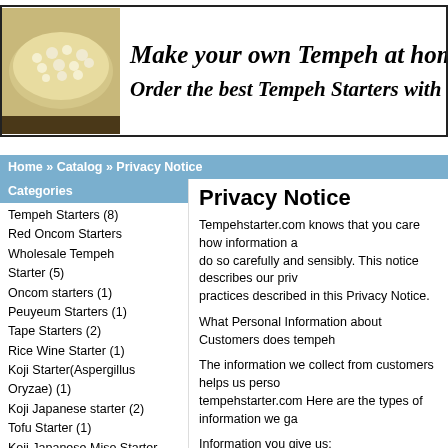[Figure (photo): Banner with tempeh photo on left and website title text on right]
Make your own Tempeh at home
Order the best Tempeh Starters with us
Home » Catalog » Privacy Notice
Categories
Tempeh Starters (8)
Red Oncom Starters
Wholesale Tempeh Starter (5)
Oncom starters (1)
Peuyeum Starters (1)
Tape Starters (2)
Rice Wine Starter (1)
Koji Starter(Aspergillus Oryzae) (1)
Koji Japanese starter (2)
Tofu Starter (1)
Koji Japanese Miso Starter
Red Rice Yeast (1)
Special Orders (1)
Privacy Notice
Tempehstarter.com knows that you care how information about you is used and shared, and we appreciate your trust that we will do so carefully and sensibly. This notice describes our privacy policy. By visiting tempehstarter.com, you are accepting the practices described in this Privacy Notice.
What Personal Information about Customers does tempehstarter.com gather?
The information we collect from customers helps us personalize and continually improve your experience at tempehstarter.com Here are the types of information we gather.
Information you give us:
We receive and store any information you enter on our Website or give us in any other way. You can choose not to provide certain information, but then you might not be able to take advantage of many of our features. We use the information that you provide for such purposes as responding to your requests, improving our store, and communicating with you.